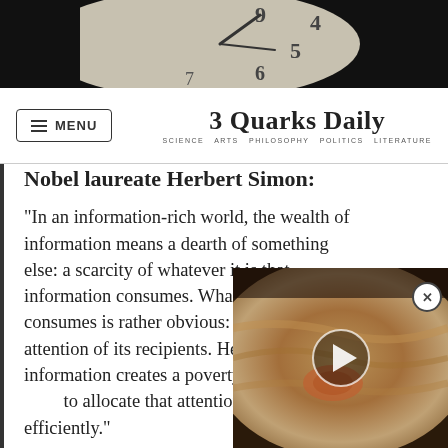[Figure (photo): Dark image of a clock face showing numbers 4, 5, 6, 7, 9 with clock hands visible against dark background]
3 Quarks Daily — SCIENCE ARTS PHILOSOPHY POLITICS LITERATURE
Nobel laureate Herbert Simon:
“In an information-rich world, the wealth of information means a dearth of something else: a scarcity of whatever it is that information consumes. What information consumes is rather obvious: it consumes the attention of its recipients. Hence a wealth of information creates a poverty of attention and a need to allocate that attention efficiently.”
3QD is here to help,
[Figure (photo): Close-up image of Jupiter's surface showing swirling cloud bands, partially overlapping the main content area, with a video play button overlay]